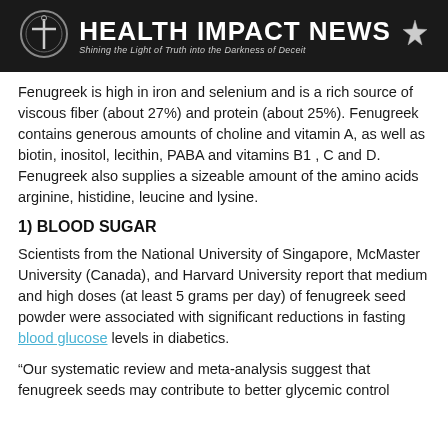[Figure (logo): Health Impact News banner with logo, title, and tagline 'Shining the Light of Truth into the Darkness of Deceit']
Fenugreek is high in iron and selenium and is a rich source of viscous fiber (about 27%) and protein (about 25%). Fenugreek contains generous amounts of choline and vitamin A, as well as biotin, inositol, lecithin, PABA and vitamins B1 , C and D. Fenugreek also supplies a sizeable amount of the amino acids arginine, histidine, leucine and lysine.
1) BLOOD SUGAR
Scientists from the National University of Singapore, McMaster University (Canada), and Harvard University report that medium and high doses (at least 5 grams per day) of fenugreek seed powder were associated with significant reductions in fasting blood glucose levels in diabetics.
“Our systematic review and meta-analysis suggest that fenugreek seeds may contribute to better glycemic control